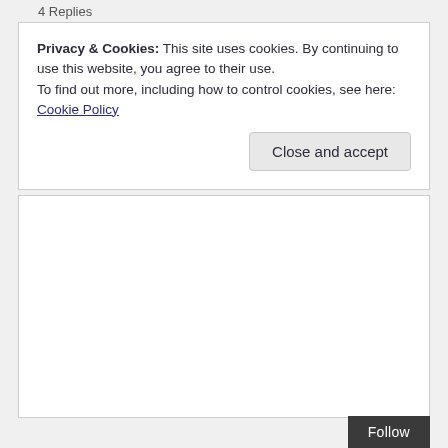4 Replies
Privacy & Cookies: This site uses cookies. By continuing to use this website, you agree to their use.
To find out more, including how to control cookies, see here: Cookie Policy
Close and accept
Follow